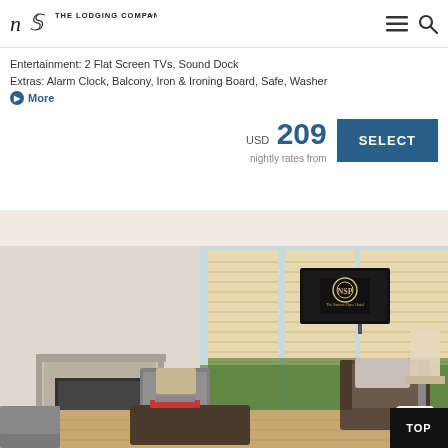The Lodging Company
Entertainment: 2 Flat Screen TVs, Sound Dock
Extras: Alarm Clock, Balcony, Iron & Ironing Board, Safe, Washer
More
USD 209 nightly rates from
[Figure (photo): Hotel room interior with flat screen TV mounted on wall, fireplace, seating area with armchairs, and large windows with blinds overlooking trees]